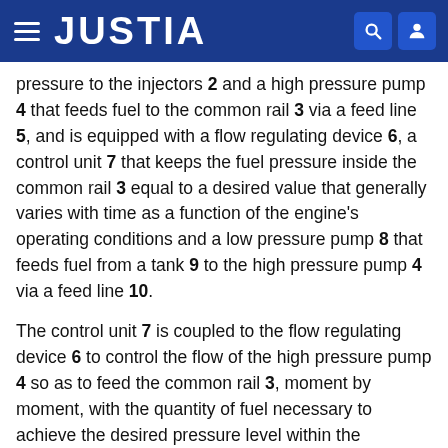JUSTIA
pressure to the injectors 2 and a high pressure pump 4 that feeds fuel to the common rail 3 via a feed line 5, and is equipped with a flow regulating device 6, a control unit 7 that keeps the fuel pressure inside the common rail 3 equal to a desired value that generally varies with time as a function of the engine's operating conditions and a low pressure pump 8 that feeds fuel from a tank 9 to the high pressure pump 4 via a feed line 10.
The control unit 7 is coupled to the flow regulating device 6 to control the flow of the high pressure pump 4 so as to feed the common rail 3, moment by moment, with the quantity of fuel necessary to achieve the desired pressure level within the common rail 3; in particular, the control unit 7 adjusts the flow of the high pressure pump 4 by means of feedback control using the value of the fuel pressure inside the common rail 3, a pressure value detected in real time by a pressure